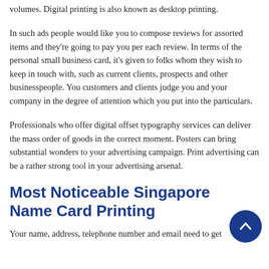volumes. Digital printing is also known as desktop printing.
In such ads people would like you to compose reviews for assorted items and they're going to pay you per each review. In terms of the personal small business card, it's given to folks whom they wish to keep in touch with, such as current clients, prospects and other businesspeople. You customers and clients judge you and your company in the degree of attention which you put into the particulars.
Professionals who offer digital offset typography services can deliver the mass order of goods in the correct moment. Posters can bring substantial wonders to your advertising campaign. Print advertising can be a rather strong tool in your advertising arsenal.
Most Noticeable Singapore Name Card Printing
Your name, address, telephone number and email need to get